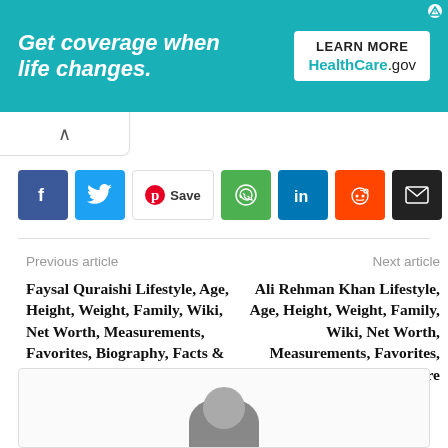[Figure (screenshot): HealthCare.gov advertisement banner with teal background. Text reads 'Get coverage when life changes.' with a 'LEARN MORE / HealthCare.gov' button on the right.]
[Figure (screenshot): Social media share buttons: Facebook (purple), Twitter (blue), Pinterest Save, WhatsApp (green), LinkedIn (blue), Reddit (orange), Email (black), Plus (grey)]
Previous article
Next article
Faysal Quraishi Lifestyle, Age, Height, Weight, Family, Wiki, Net Worth, Measurements, Favorites, Biography, Facts & More
Ali Rehman Khan Lifestyle, Age, Height, Weight, Family, Wiki, Net Worth, Measurements, Favorites, Biography, Facts & More
[Figure (photo): Partial profile photo of a person at the bottom of the page in a bordered box]